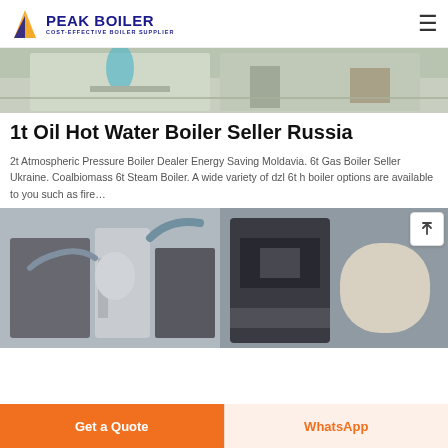PEAK BOILER — COST-EFFECTIVE BOILER SUPPLIER
[Figure (photo): Industrial facility floor with boiler equipment visible, light-colored concrete floor with machinery and equipment.]
1t Oil Hot Water Boiler Seller Russia
2t Atmospheric Pressure Boiler Dealer Energy Saving Moldavia. 6t Gas Boiler Seller Ukraine. Coalbiomass 6t Steam Boiler. A wide variety of dzl 6t h boiler options are available to you such as fire…
[Figure (photo): Industrial boiler equipment in a factory setting, showing large boiler units and associated piping.]